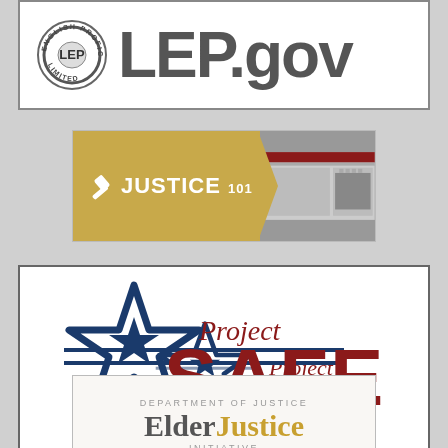[Figure (logo): LEP.gov logo with circular seal and large text LEP.gov]
[Figure (logo): Justice 101 banner with gavel icon on gold/tan background with screenshot of court building]
[Figure (logo): Project SAFE Neighborhoods logo with blue star outline and red bold SAFE text]
[Figure (logo): Department of Justice Elder Justice Initiative logo with gold and gray text on cream background]